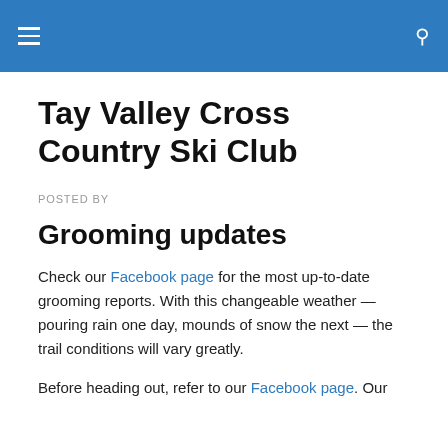Tay Valley Cross Country Ski Club
Tay Valley Cross Country Ski Club
POSTED BY
Grooming updates
Check our Facebook page for the most up-to-date grooming reports. With this changeable weather — pouring rain one day, mounds of snow the next — the trail conditions will vary greatly.
Before heading out, refer to our Facebook page. Our